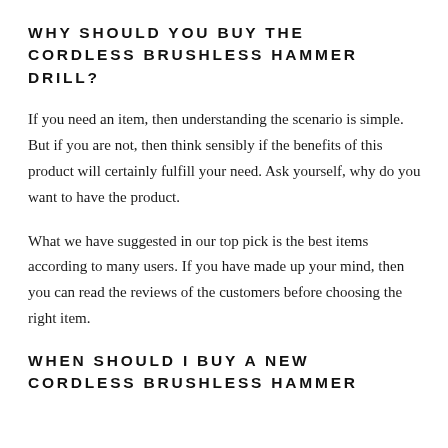WHY SHOULD YOU BUY THE CORDLESS BRUSHLESS HAMMER DRILL?
If you need an item, then understanding the scenario is simple. But if you are not, then think sensibly if the benefits of this product will certainly fulfill your need. Ask yourself, why do you want to have the product.
What we have suggested in our top pick is the best items according to many users. If you have made up your mind, then you can read the reviews of the customers before choosing the right item.
WHEN SHOULD I BUY A NEW CORDLESS BRUSHLESS HAMMER